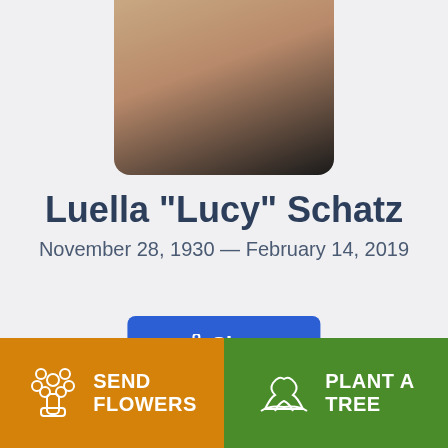[Figure (photo): Portrait photograph of Luella Lucy Schatz, partially cropped at top of page]
Luella "Lucy" Schatz
November 28, 1930 — February 14, 2019
Share
SEND FLOWERS
PLANT A TREE